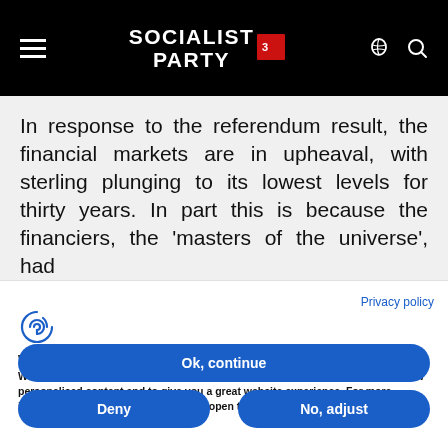SOCIALIST PARTY
In response to the referendum result, the financial markets are in upheaval, with sterling plunging to its lowest levels for thirty years. In part this is because the financiers, the 'masters of the universe', had
Privacy policy
[Figure (logo): Complianz cookie consent logo icon - fingerprint style circular icon in blue]
We use cookies
We may place these for analysis of our visitor data, to improve our website, show personalised content and to give you a great website experience. For more information about the cookies we use open the settings.
Ok, continue
Deny
No, adjust